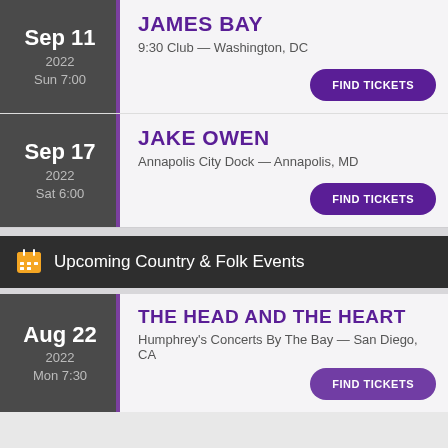JAMES BAY
9:30 Club — Washington, DC
Sep 11
2022
Sun 7:00
FIND TICKETS
JAKE OWEN
Annapolis City Dock — Annapolis, MD
Sep 17
2022
Sat 6:00
FIND TICKETS
Upcoming Country & Folk Events
THE HEAD AND THE HEART
Humphrey's Concerts By The Bay — San Diego, CA
Aug 22
2022
Mon 7:30
FIND TICKETS